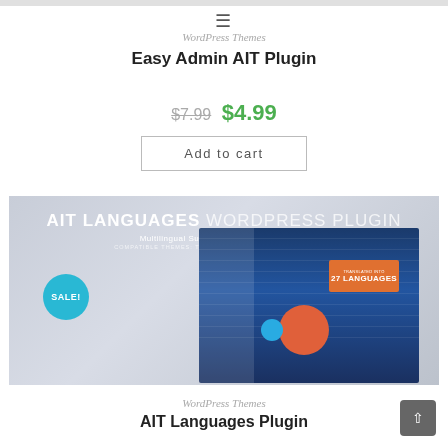WordPress Themes
Easy Admin AIT Plugin
$7.99 $4.99
Add to cart
[Figure (screenshot): AIT Languages WordPress Plugin promotional banner with 'SALE!' badge, multilingual support & translations plugin screenshot showing admin interface with orange '27 Languages' badge]
WordPress Themes
AIT Languages Plugin